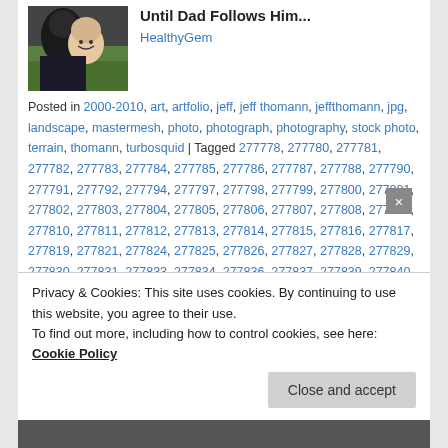[Figure (photo): Thumbnail photo showing a child and adult face close together outdoors]
Until Dad Follows Him...
HealthyGem
Posted in 2000-2010, art, artfolio, jeff, jeff thomann, jeffthomann, jpg, landscape, mastermesh, photo, photograph, photography, stock photo, terrain, thomann, turbosquid | Tagged 277778, 277780, 277781, 277782, 277783, 277784, 277785, 277786, 277787, 277788, 277790, 277791, 277792, 277794, 277797, 277798, 277799, 277800, 277801, 277802, 277803, 277804, 277805, 277806, 277807, 277808, 277809, 277810, 277811, 277812, 277813, 277814, 277815, 277816, 277817, 277819, 277821, 277824, 277825, 277826, 277827, 277828, 277829, 277830, 277831, 277833, 277834, 277836, 277837, 277839, 277840, 277841, 277842, 277844, 277845, 277846, 277847, 277848, 277849, 277850, 277853, 277854, 277855, 277856, 277857, 277858, 277859, 277860, 277863, 277864, 277865, 277866, 277867, 277870
Privacy & Cookies: This site uses cookies. By continuing to use this website, you agree to their use. To find out more, including how to control cookies, see here: Cookie Policy